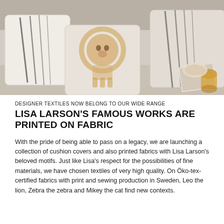[Figure (photo): Photograph of decorative cushion covers on a sofa featuring animal motifs — a zebra, a lion, and another animal — in a light beige/linen style. A magazine, a decorative dish, and an amber glass are visible in the background.]
DESIGNER TEXTILES NOW BELONG TO OUR WIDE RANGE
LISA LARSON'S FAMOUS WORKS ARE PRINTED ON FABRIC
With the pride of being able to pass on a legacy, we are launching a collection of cushion covers and also printed fabrics with Lisa Larson's beloved motifs. Just like Lisa's respect for the possibilities of fine materials, we have chosen textiles of very high quality. On Öko-tex-certified fabrics with print and sewing production in Sweden, Leo the lion, Zebra the zebra and Mikey the cat find new contexts.